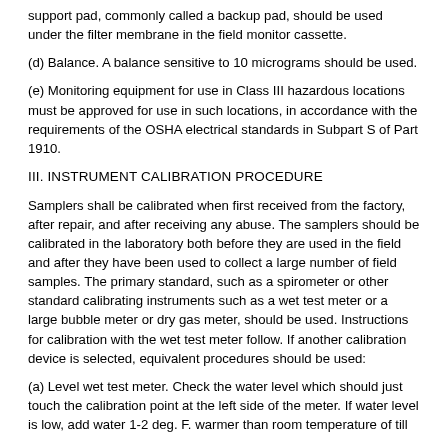support pad, commonly called a backup pad, should be used under the filter membrane in the field monitor cassette.
(d) Balance. A balance sensitive to 10 micrograms should be used.
(e) Monitoring equipment for use in Class III hazardous locations must be approved for use in such locations, in accordance with the requirements of the OSHA electrical standards in Subpart S of Part 1910.
III. INSTRUMENT CALIBRATION PROCEDURE
Samplers shall be calibrated when first received from the factory, after repair, and after receiving any abuse. The samplers should be calibrated in the laboratory both before they are used in the field and after they have been used to collect a large number of field samples. The primary standard, such as a spirometer or other standard calibrating instruments such as a wet test meter or a large bubble meter or dry gas meter, should be used. Instructions for calibration with the wet test meter follow. If another calibration device is selected, equivalent procedures should be used:
(a) Level wet test meter. Check the water level which should just touch the calibration point at the left side of the meter. If water level is low, add water 1-2 deg. F. warmer than room temperature of till